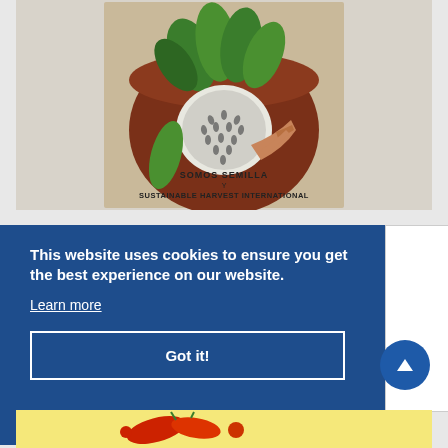[Figure (photo): Book cover for 'Somos Semilla y Sustainable Harvest International' showing an illustrated scene with a hand holding a sunflower seedhead inside a decorative circular frame with green leaves, on a beige/kraft paper background.]
This website uses cookies to ensure you get the best experience on our website.
Learn more
Got it!
[Figure (photo): Partial view of another book or image with red and green botanical illustration on yellow background at bottom of page.]